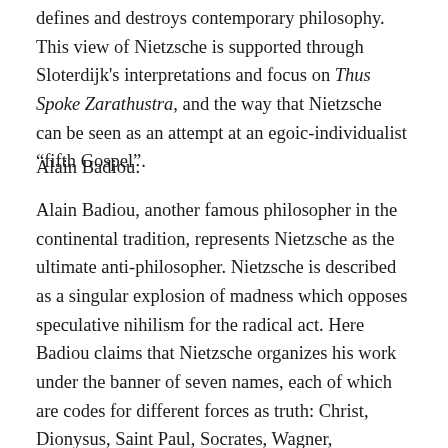defines and destroys contemporary philosophy. This view of Nietzsche is supported through Sloterdijk's interpretations and focus on Thus Spoke Zarathustra, and the way that Nietzsche can be seen as an attempt at an egoic-individualist “fifth Gospel”.
Alain Badiou:
Alain Badiou, another famous philosopher in the continental tradition, represents Nietzsche as the ultimate anti-philosopher. Nietzsche is described as a singular explosion of madness which opposes speculative nihilism for the radical act. Here Badiou claims that Nietzsche organizes his work under the banner of seven names, each of which are codes for different forces as truth: Christ, Dionysus, Saint Paul, Socrates, Wagner, Zarathustra, and Nietzsche himself. For Badiou, Nietzsche’s supreme act of the prophet